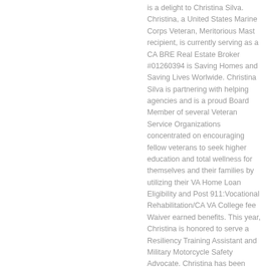is a delight to Christina Silva. Christina, a United States Marine Corps Veteran, Meritorious Mast recipient, is currently serving as a CA BRE Real Estate Broker #01260394 is Saving Homes and Saving Lives Worlwide. Christina Silva is partnering with helping agencies and is a proud Board Member of several Veteran Service Organizations concentrated on encouraging fellow veterans to seek higher education and total wellness for themselves and their families by utilizing their VA Home Loan Eligibility and Post 911:Vocational Rehabilitation/CA VA College fee Waiver earned benefits. This year, Christina is honored to serve a Resiliency Training Assistant and Military Motorcycle Safety Advocate. Christina has been appointed as the Veterans Chair of the California Advisory Council On Military Education (CA ACME), California Latino Leadership Academy, Team Ten Veteran Fellow of the first inaugural class of 2015, DAV National Deputy Chief of Staff, Los Angeles Chapter 5 Junior Vice and Service Officer, Member of Amvets Post 2, Member of the American Legion, Hollywood Post 43, HAM Radio Committee & VFTLA Member, Volunteer Editor of the Los Angeles Air Force Base,